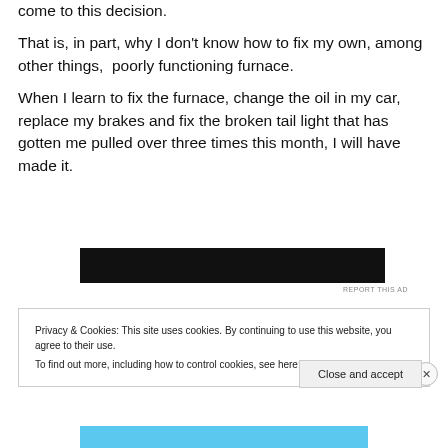come to this decision.
That is, in part, why I don't know how to fix my own, among other things,  poorly functioning furnace.
When I learn to fix the furnace, change the oil in my car, replace my brakes and fix the broken tail light that has gotten me pulled over three times this month, I will have made it.
[Figure (other): Black advertisement banner]
REPORT THIS AD
Privacy & Cookies: This site uses cookies. By continuing to use this website, you agree to their use.
To find out more, including how to control cookies, see here: Cookie Policy
Close and accept